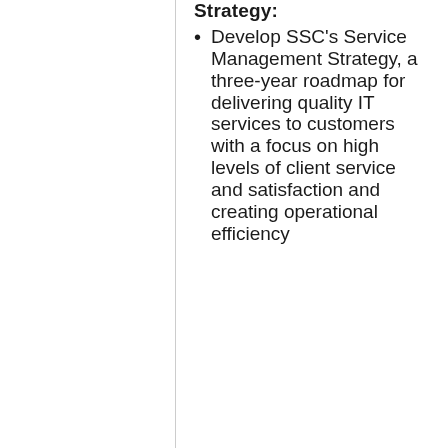Strategy:
Develop SSC's Service Management Strategy, a three-year roadmap for delivering quality IT services to customers with a focus on high levels of client service and satisfaction and creating operational efficiency